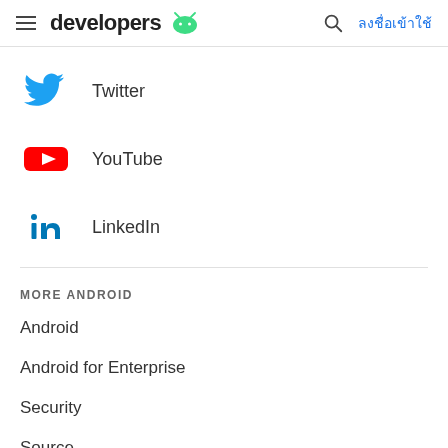developers (Android logo) ลงชื่อเข้าใช้
Twitter
YouTube
LinkedIn
MORE ANDROID
Android
Android for Enterprise
Security
Source
News
Blog